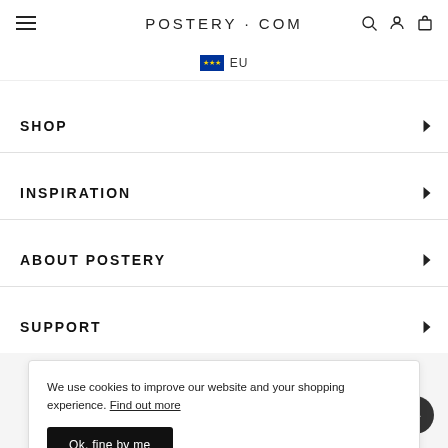POSTERY · COM
EU
SHOP
INSPIRATION
ABOUT POSTERY
SUPPORT
We use cookies to improve our website and your shopping experience. Find out more
Ok, fine by me
POSTERY · COM
Copyright © 2022 Postery AB. All rights reserved.